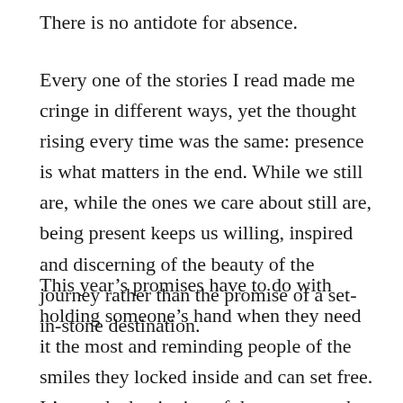There is no antidote for absence.
Every one of the stories I read made me cringe in different ways, yet the thought rising every time was the same: presence is what matters in the end. While we still are, while the ones we care about still are, being present keeps us willing, inspired and discerning of the beauty of the journey rather than the promise of a set-in-stone destination.
This year’s promises have to do with holding someone’s hand when they need it the most and reminding people of the smiles they locked inside and can set free. It’s not the beginning of the new year that gives meaning to the rest of the days but our presence in every one of them